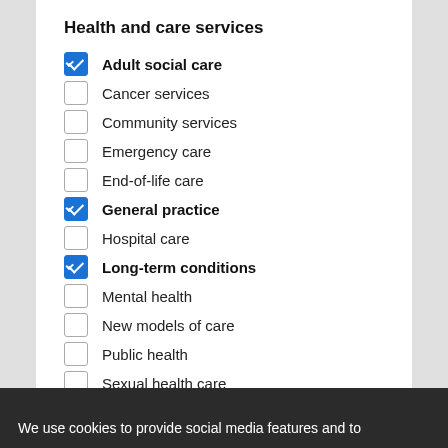Health and care services
Adult social care
Cancer services
Community services
Emergency care
End-of-life care
General practice
Hospital care
Long-term conditions
Mental health
New models of care
Public health
Sexual health care
Leadership, systems and organisations
Clinical commissioning groups
We use cookies to provide social media features and to